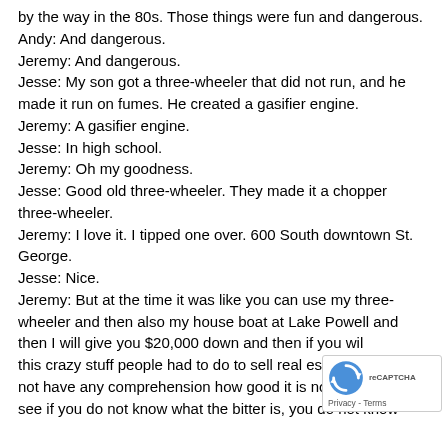by the way in the 80s. Those things were fun and dangerous.
Andy: And dangerous.
Jeremy: And dangerous.
Jesse: My son got a three-wheeler that did not run, and he made it run on fumes. He created a gasifier engine.
Jeremy: A gasifier engine.
Jesse: In high school.
Jeremy: Oh my goodness.
Jesse: Good old three-wheeler. They made it a chopper three-wheeler.
Jeremy: I love it. I tipped one over. 600 South downtown St. George.
Jesse: Nice.
Jeremy: But at the time it was like you can use my three-wheeler and then also my house boat at Lake Powell and then I will give you $20,000 down and then if you will... this crazy stuff people had to do to sell real estate. W... not have any comprehension how good it is now. Be... see if you do not know what the bitter is, you do not know
[Figure (logo): reCAPTCHA badge with rotating arrows logo and Privacy - Terms text]